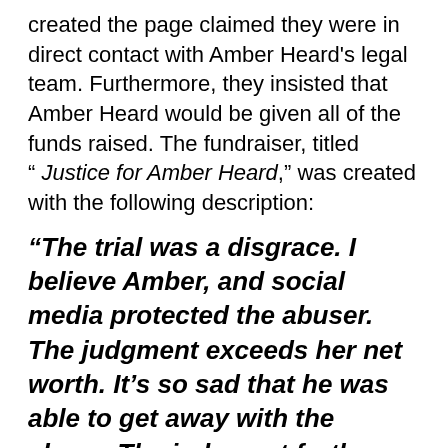created the page claimed they were in direct contact with Amber Heard's legal team. Furthermore, they insisted that Amber Heard would be given all of the funds raised. The fundraiser, titled “ Justice for Amber Heard,” was created with the following description:
“The trial was a disgrace. I believe Amber, and social media protected the abuser. The judgment exceeds her net worth. It’s so sad that he was able to get away with the abuse. The judgment furthers that abuse. If you can please help her.”
As it turns out, however, the claims made by this fundraiser appear to be false. It’s been stated that they actually did not have any kind